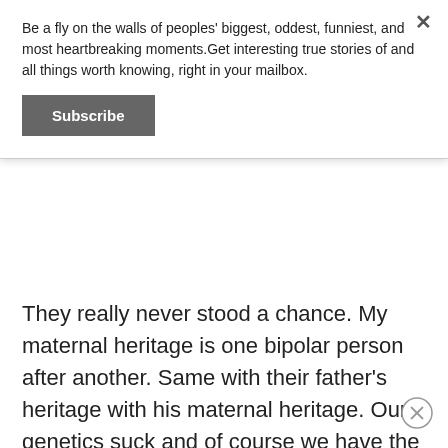Be a fly on the walls of peoples' biggest, oddest, funniest, and most heartbreaking moments.Get interesting true stories of and all things worth knowing, right in your mailbox.
Subscribe
They really never stood a chance. My maternal heritage is one bipolar person after another. Same with their father's heritage with his maternal heritage. Our genetics suck and of course we have the kind that doesn't go away.
Anyway, parents-listen to yourself if you suspect your child is mentally ill. Fuck everyone else. Fuck stigmas. Fuck non believers. Fuck natural oil armchair doctors. They can all take a shit on their own bread!!